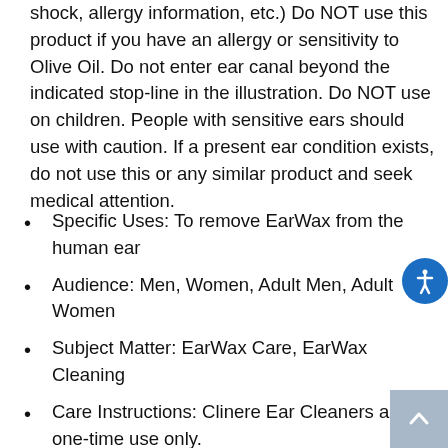shock, allergy information, etc.) Do NOT use this product if you have an allergy or sensitivity to Olive Oil. Do not enter ear canal beyond the indicated stop-line in the illustration. Do NOT use on children. People with sensitive ears should use with caution. If a present ear condition exists, do not use this or any similar product and seek medical attention.
Specific Uses: To remove EarWax from the human ear
Audience: Men, Women, Adult Men, Adult Women
Subject Matter: EarWax Care, EarWax Cleaning
Care Instructions: Clinere Ear Cleaners are one-time use only.
Directions: Place a drop of EarOil on the ear and massage into ear without entering Ear Canal. Use the Clinere ear tool to help remove